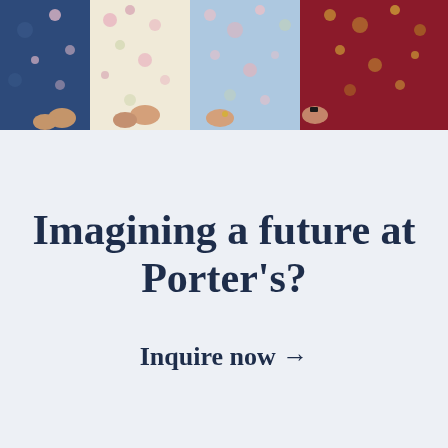[Figure (photo): Group of people wearing colorful floral dresses and garments — visible from waist down, showing blue, cream, light blue, and red patterned fabrics.]
Imagining a future at Porter's?
Inquire now →